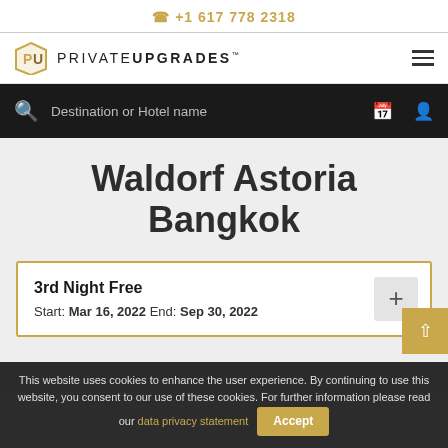+1 617 778 2318
[Figure (logo): PrivateUpgrades logo with stylized PU shield icon and text PRIVATEUPGRADES™]
Destination or Hotel name
Waldorf Astoria Bangkok
3rd Night Free
Start: Mar 16, 2022 End: Sep 30, 2022
This website uses cookies to enhance the user experience. By continuing to use this website, you consent to our use of these cookies. For further information please read our data privacy statement  Accept